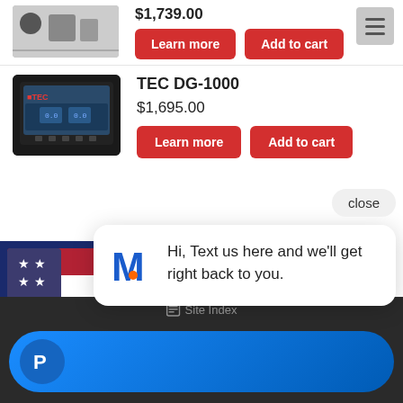$1,739.00
Learn more
Add to cart
TEC DG-1000
$1,695.00
Learn more
Add to cart
[Figure (screenshot): Chat popup with M logo saying: Hi, Text us here and we'll get right back to you.]
Site Index
[Figure (logo): PayPal button bar, blue gradient with PayPal P logo]